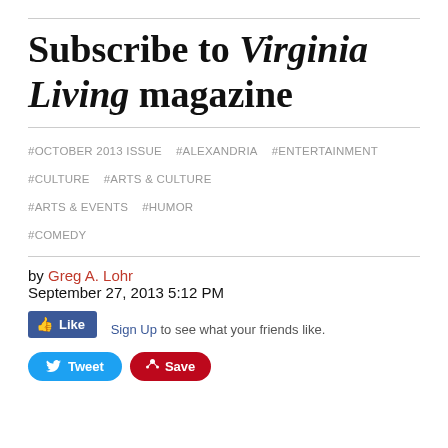Subscribe to Virginia Living magazine
#OCTOBER 2013 ISSUE  #ALEXANDRIA  #ENTERTAINMENT  #CULTURE  #ARTS & CULTURE  #ARTS & EVENTS  #HUMOR  #COMEDY
by Greg A. Lohr
September 27, 2013 5:12 PM
[Figure (screenshot): Facebook Like button with Sign Up link text: 'Sign Up to see what your friends like.']
[Figure (screenshot): Twitter Tweet button and Pinterest Save button row]